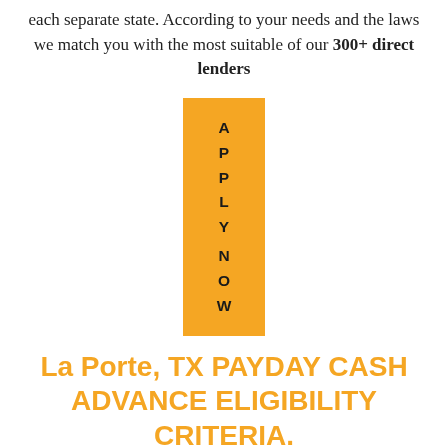each separate state. According to your needs and the laws we match you with the most suitable of our 300+ direct lenders
[Figure (other): Orange vertical banner button with letters spelling APPLY NOW stacked vertically]
La Porte, TX PAYDAY CASH ADVANCE ELIGIBILITY CRITERIA.